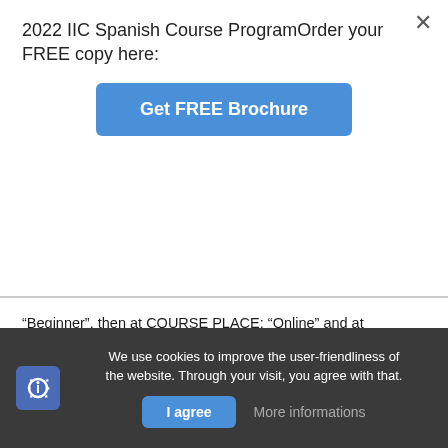2022 IIC Spanish Course ProgramOrder your FREE copy here:
[Figure (other): Blue button labeled 'Get FREE Brochure']
“Beginner”, then at COURSE PLACE: “Online” and at COURSE TYPE: “Online Group FLEX”, starting July 5. The booking will be confirmed with your payment; payments can be made by PayPal until Thursday, 7 July, at 12pm. Once your booking is confirmed, we will send you the link to your course.
Please note: Course places are limited to 7 students only.
We use cookies to improve the user-friendliness of the website. Through your visit, you agree with that.
I agree
More informations